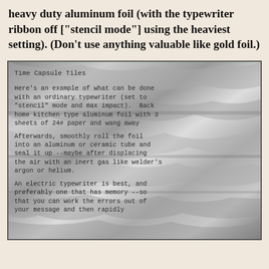heavy duty aluminum foil (with the typewriter ribbon off ["stencil mode"] using the heaviest setting). (Don't use anything valuable like gold foil.)
[Figure (photo): A photograph of crinkled aluminum foil with typewritten text pressed into it, showing text about 'Time Capsule Tiles' and instructions for using a typewriter to emboss messages on aluminum foil, then rolling and sealing in a tube with inert gas.]